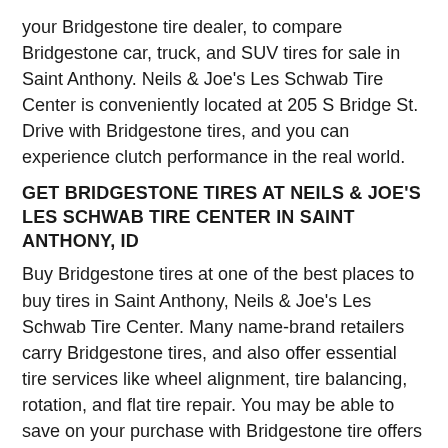your Bridgestone tire dealer, to compare Bridgestone car, truck, and SUV tires for sale in Saint Anthony. Neils & Joe's Les Schwab Tire Center is conveniently located at 205 S Bridge St. Drive with Bridgestone tires, and you can experience clutch performance in the real world.
GET BRIDGESTONE TIRES AT NEILS & JOE'S LES SCHWAB TIRE CENTER IN SAINT ANTHONY, ID
Buy Bridgestone tires at one of the best places to buy tires in Saint Anthony, Neils & Joe's Les Schwab Tire Center. Many name-brand retailers carry Bridgestone tires, and also offer essential tire services like wheel alignment, tire balancing, rotation, and flat tire repair. You may be able to save on your purchase with Bridgestone tire offers or promotional financing. You might be able to save more if there's a Bridgestone tire sale in Saint Anthony, too. Contact your closest Bridgestone tire dealer at (208) 624-3747 for more information.
*Conditions apply. See